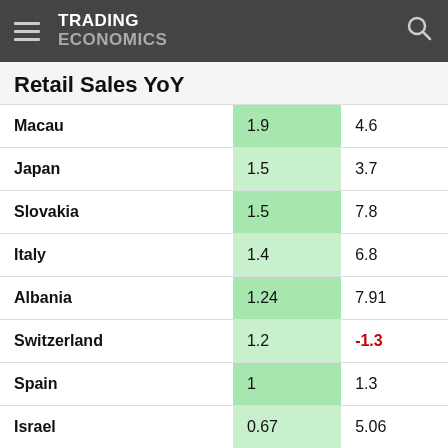TRADING ECONOMICS
Retail Sales YoY
| Country | Current | Previous |
| --- | --- | --- |
| Macau | 1.9 | 4.6 |
| Japan | 1.5 | 3.7 |
| Slovakia | 1.5 | 7.8 |
| Italy | 1.4 | 6.8 |
| Albania | 1.24 | 7.91 |
| Switzerland | 1.2 | -1.3 |
| Spain | 1 | 1.3 |
| Israel | 0.67 | 5.06 |
| France | 0.6 | 5.1 |
| Netherlands | 0.4 | 1.6 |